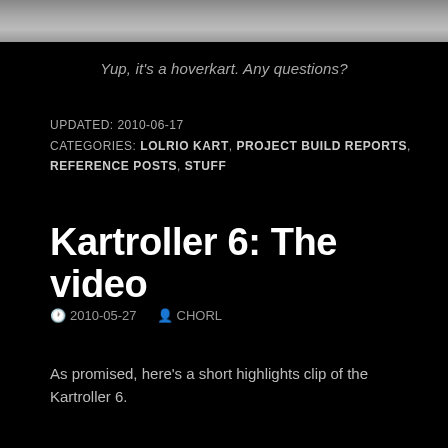[Figure (photo): Top portion of a photograph showing a hoverkart, cropped — only the upper edge is visible against a dark background.]
Yup, it's a hoverkart. Any questions?
UPDATED: 2010-06-17
CATEGORIES: LOLRIO KART, PROJECT BUILD REPORTS, REFERENCE POSTS, STUFF
Kartroller 6: The video
2010-05-27  CHORL
As promised, here's a short highlights clip of the Kartroller 6.